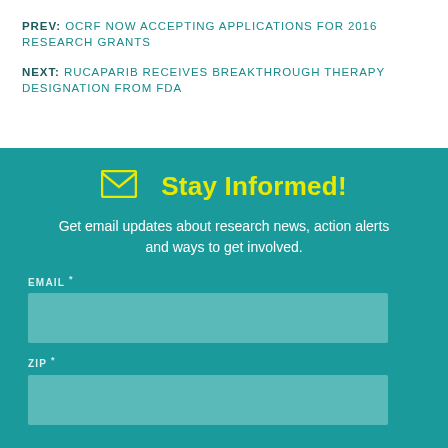PREV: OCRF NOW ACCEPTING APPLICATIONS FOR 2016 RESEARCH GRANTS
NEXT: RUCAPARIB RECEIVES BREAKTHROUGH THERAPY DESIGNATION FROM FDA
Stay Informed!
Get email updates about research news, action alerts and ways to get involved.
EMAIL *
ZIP *